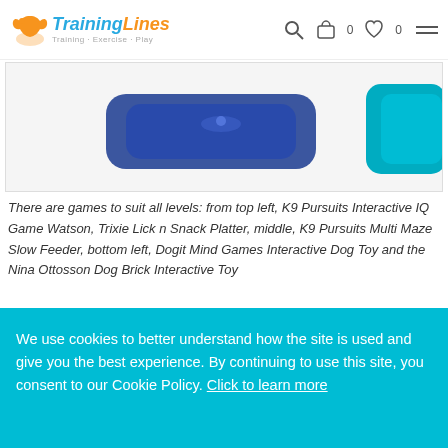TrainingLines - Training · Exercise · Play - navigation with search, cart (0), wishlist (0), hamburger menu
[Figure (photo): Product image strip showing dog interactive toys including a blue toy (K9 Pursuits Interactive IQ Game Watson) and a teal/green item visible on right edge, on a light gray background]
There are games to suit all levels: from top left, K9 Pursuits Interactive IQ Game Watson, Trixie Lick n Snack Platter, middle, K9 Pursuits Multi Maze Slow Feeder, bottom left, Dogit Mind Games Interactive Dog Toy and the Nina Ottosson Dog Brick Interactive Toy
Or your dog may prefer soft toys, so why not make these
We use cookies to better understand how the site is used and give you the best experience. By continuing to use this site, you consent to our Cookie Policy. Click to learn more